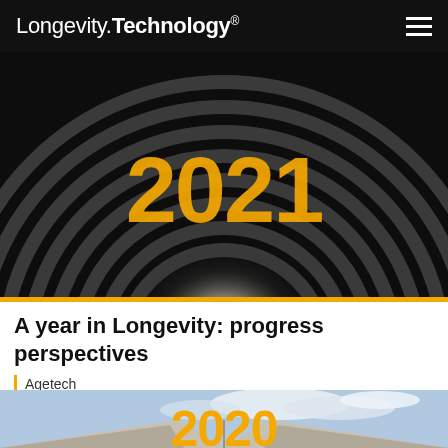Longevity.Technology®
[Figure (photo): Dark architectural circular tunnel structure with bright center light, overlaid with large golden/yellow text '2021']
A year in Longevity: progress perspectives
Agetech
[Figure (photo): Modern architectural structure with geometric roof and blue cloudy sky, overlaid with large golden/yellow text '2020']